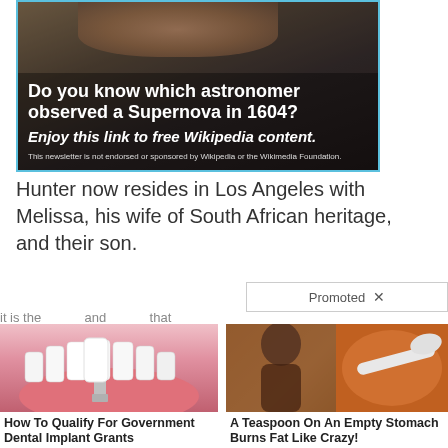[Figure (illustration): Advertisement banner with dark background showing a person. Text overlay reads: 'Do you know which astronomer observed a Supernova in 1604? Enjoy this link to free Wikipedia content. This newsletter is not endorsed or sponsored by Wikipedia or the Wikimedia Foundation.']
Hunter now resides in Los Angeles with Melissa, his wife of South African heritage, and their son.
Promoted X
[Figure (illustration): Ad showing dental implant illustration with text: How To Qualify For Government Dental Implant Grants. Count: 8,838]
[Figure (illustration): Ad showing person and spice image with text: A Teaspoon On An Empty Stomach Burns Fat Like Crazy! Count: 150,287]